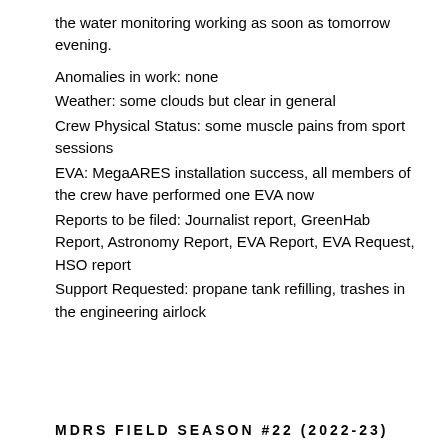the water monitoring working as soon as tomorrow evening.
Anomalies in work: none
Weather: some clouds but clear in general
Crew Physical Status: some muscle pains from sport sessions
EVA: MegaARES installation success, all members of the crew have performed one EVA now
Reports to be filed: Journalist report, GreenHab Report, Astronomy Report, EVA Report, EVA Request, HSO report
Support Requested: propane tank refilling, trashes in the engineering airlock
MDRS FIELD SEASON #22 (2022-23)